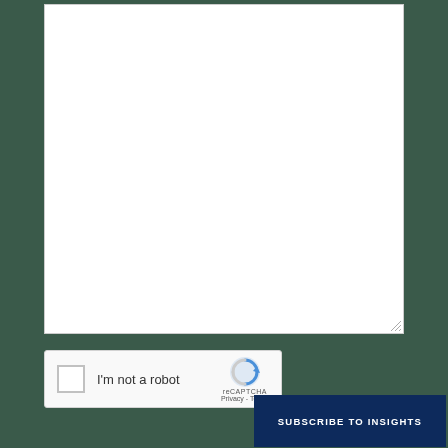[Figure (screenshot): A large white textarea input field with a resize handle at the bottom right corner, on a dark green background.]
[Figure (screenshot): A reCAPTCHA widget showing a checkbox, 'I'm not a robot' label, reCAPTCHA logo, and Privacy/Terms links.]
SUBSCRIBE TO INSIGHTS